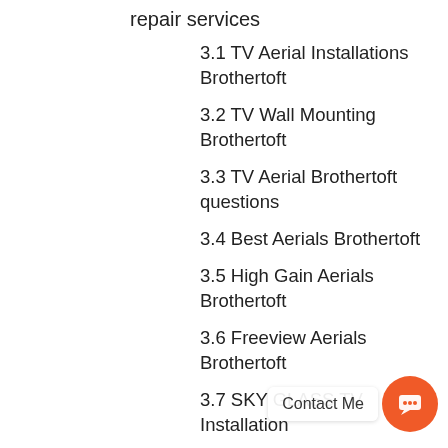repair services
3.1 TV Aerial Installations Brothertoft
3.2 TV Wall Mounting Brothertoft
3.3 TV Aerial Brothertoft questions
3.4 Best Aerials Brothertoft
3.5 High Gain Aerials Brothertoft
3.6 Freeview Aerials Brothertoft
3.7 SKY GLASS TV Installation
3.8 What's Sky Ultimate?
3.9 Factors affecting CCTV installation costs
3.10 aerial services Brothertoft
3.11 aerial installers Brothertoft
3.12 aerial installer Brothertoft
3.13 aerial installation cost Brothertoft